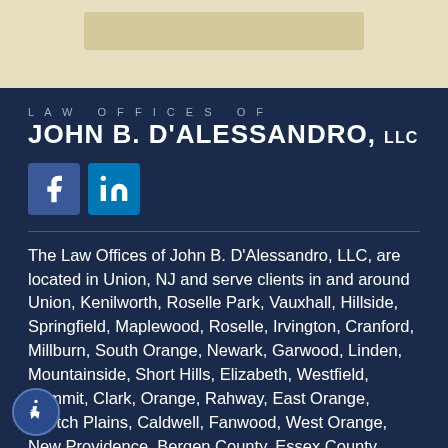[Figure (other): Top banner area with beige/cream background and a tan decorative bar]
LAW OFFICES OF JOHN B. D'ALESSANDRO, LLC
[Figure (other): Facebook and LinkedIn social media icons]
The Law Offices of John B. D'Alessandro, LLC, are located in Union, NJ and serve clients in and around Union, Kenilworth, Roselle Park, Vauxhall, Hillside, Springfield, Maplewood, Roselle, Irvington, Cranford, Millburn, South Orange, Newark, Garwood, Linden, Mountainside, Short Hills, Elizabeth, Westfield, Summit, Clark, Orange, Rahway, East Orange, Scotch Plains, Caldwell, Fanwood, West Orange, New Providence, Bergen County, Essex County, Hudson County,